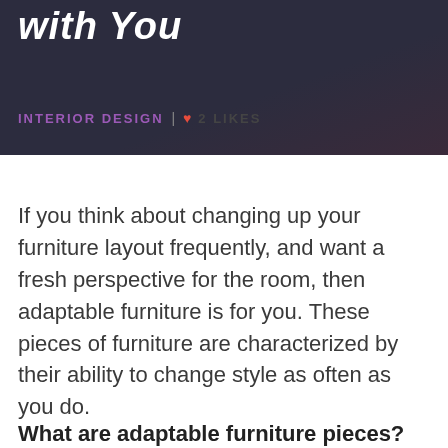[Figure (photo): Dark background header image with bold italic white text reading 'with You']
INTERIOR DESIGN | ♥ 2 LIKES
If you think about changing up your furniture layout frequently, and want a fresh perspective for the room, then adaptable furniture is for you. These pieces of furniture are characterized by their ability to change style as often as you do.
What are adaptable furniture pieces?